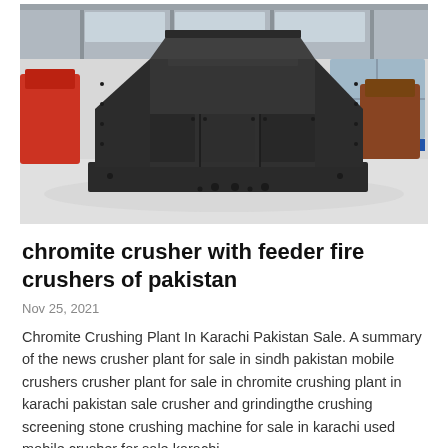[Figure (photo): Large industrial chromite crusher machine photographed inside a factory/warehouse with high ceilings. The machine is dark grey/black, heavy-duty with a boxy structure and multiple compartments, sitting on a concrete floor.]
chromite crusher with feeder fire crushers of pakistan
Nov 25, 2021
Chromite Crushing Plant In Karachi Pakistan Sale. A summary of the news crusher plant for sale in sindh pakistan mobile crushers crusher plant for sale in chromite crushing plant in karachi pakistan sale crusher and grindingthe crushing screening stone crushing machine for sale in karachi used mobile crusher for sale karachi